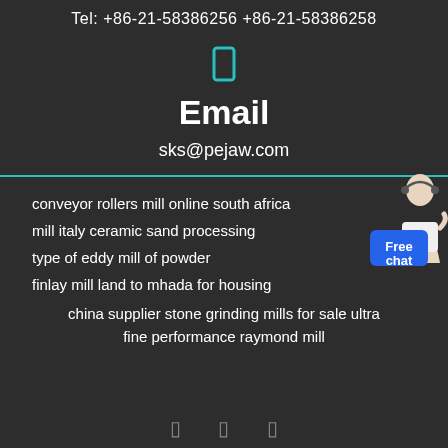Tel: +86-21-58386256 +86-21-58386258
[Figure (other): Email icon (bracket/envelope icon in teal)]
Email
sks@pejaw.com
[Figure (illustration): Customer support person with headset, with Free chat blue button overlay]
conveyor rollers mill online south africa
mill italy ceramic sand processing
type of eddy mill of powder
finlay mill land to mhada for housing
china supplier stone grinding mills for sale ultra fine performance raymond mill
◻ ◻ ◻